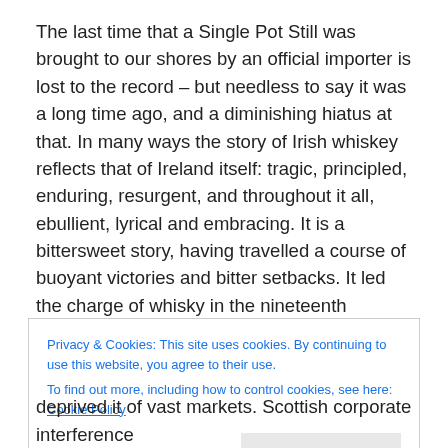The last time that a Single Pot Still was brought to our shores by an official importer is lost to the record – but needless to say it was a long time ago, and a diminishing hiatus at that. In many ways the story of Irish whiskey reflects that of Ireland itself: tragic, principled, enduring, resurgent, and throughout it all, ebullient, lyrical and embracing. It is a bittersweet story, having travelled a course of buoyant victories and bitter setbacks. It led the charge of whisky in the nineteenth century, dominating the market with its rich, full-flavoured pot stills – it was during
Privacy & Cookies: This site uses cookies. By continuing to use this website, you agree to their use.
To find out more, including how to control cookies, see here: Cookie Policy
[Close and accept]
deprived it of vast markets. Scottish corporate interference